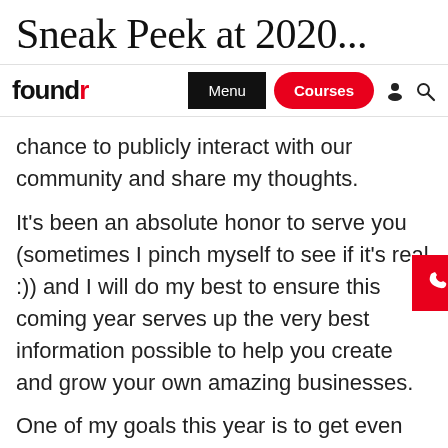Sneak Peek at 2020...
foundr | Menu | Courses
chance to publicly interact with our community and share my thoughts.
It's been an absolute honor to serve you (sometimes I pinch myself to see if it's real :)) and I will do my best to ensure this coming year serves up the very best information possible to help you create and grow your own amazing businesses.
One of my goals this year is to get even more